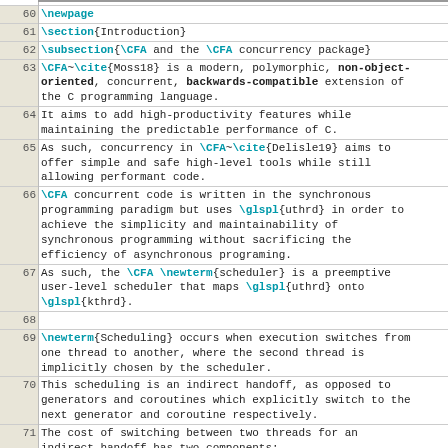| Line | Code |
| --- | --- |
|  | ============================================================= |
| 60 | \newpage |
| 61 | \section{Introduction} |
| 62 | \subsection{\CFA and the \CFA concurrency package} |
| 63 | \CFA~\cite{Moss18} is a modern, polymorphic, non-object-oriented, concurrent, backwards-compatible extension of the C programming language. |
| 64 | It aims to add high-productivity features while maintaining the predictable performance of C. |
| 65 | As such, concurrency in \CFA~\cite{Delisle19} aims to offer simple and safe high-level tools while still allowing performant code. |
| 66 | \CFA concurrent code is written in the synchronous programming paradigm but uses \glspl{uthrd} in order to achieve the simplicity and maintainability of synchronous programming without sacrificing the efficiency of asynchronous programing. |
| 67 | As such, the \CFA \newterm{scheduler} is a preemptive user-level scheduler that maps \glspl{uthrd} onto \glspl{kthrd}. |
| 68 |  |
| 69 | \newterm{Scheduling} occurs when execution switches from one thread to another, where the second thread is implicitly chosen by the scheduler. |
| 70 | This scheduling is an indirect handoff, as opposed to generators and coroutines which explicitly switch to the next generator and coroutine respectively. |
| 71 | The cost of switching between two threads for an indirect handoff has two components: |
| 72 | \begin{enumerate} |
| 73 | \item |
| 74 | the cost of actually context-switching, \ie changing the relevant registers to move execution from one thread to the other, |
| 75 | \item |